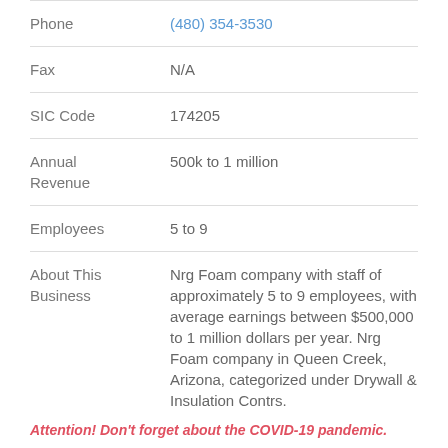| Field | Value |
| --- | --- |
| Phone | (480) 354-3530 |
| Fax | N/A |
| SIC Code | 174205 |
| Annual Revenue | 500k to 1 million |
| Employees | 5 to 9 |
| About This Business | Nrg Foam company with staff of approximately 5 to 9 employees, with average earnings between $500,000 to 1 million dollars per year. Nrg Foam company in Queen Creek, Arizona, categorized under Drywall & Insulation Contrs. |
Attention! Don't forget about the COVID-19 pandemic.